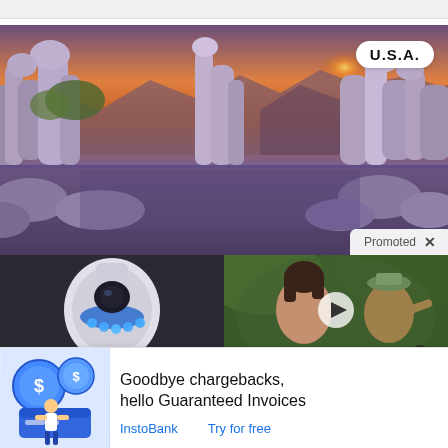[Figure (photo): Scenic landscape photo of rocky tufa formations at a lake (Mono Lake, California) with sunset and mountains in background, with a white pill-shaped badge reading 'U.S.A.' in the top right corner, and a 'Promoted X' label at the bottom right.]
[Figure (photo): Close-up photo of a white and blue security camera with glowing blue LED lights.]
[Figure (photo): Two people outdoors; one pointing, with a video play button overlay and chevron icon, possibly a news thumbnail.]
Th
Ca
Cr
In
It
[Figure (illustration): Illustrated advertisement icon showing coins with dollar signs and a man with a credit card, colored in blue and white tones.]
Goodbye chargebacks, hello Guaranteed Invoices
InstoBank    Try for free